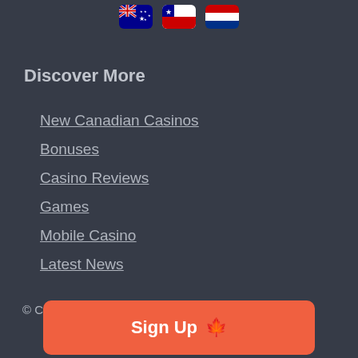[Figure (illustration): Three country flag icons in a row: Australian flag, Chilean flag, Netherlands flag]
Discover More
New Canadian Casinos
Bonuses
Casino Reviews
Games
Mobile Casino
Latest News
© Copyright 2022 Casino Expert
[Figure (other): Sign Up button with maple leaf icon, orange background]